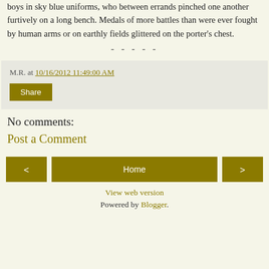boys in sky blue uniforms, who between errands pinched one another furtively on a long bench. Medals of more battles than were ever fought by human arms or on earthly fields glittered on the porter's chest.
- - - - -
M.R. at 10/16/2012 11:49:00 AM
Share
No comments:
Post a Comment
< Home >
View web version
Powered by Blogger.